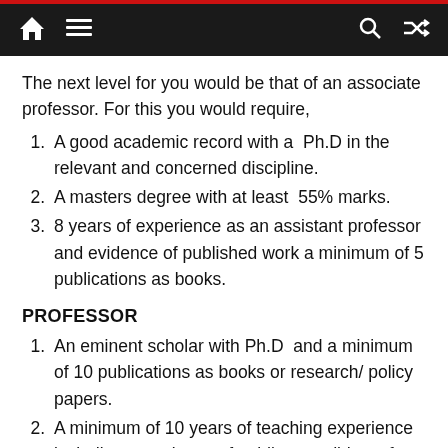Navigation bar with home, menu, search, and shuffle icons
The next level for you would be that of an associate professor. For this you would require,
A good academic record with a Ph.D in the relevant and concerned discipline.
A masters degree with at least 55% marks.
8 years of experience as an assistant professor and evidence of published work a minimum of 5 publications as books.
PROFESSOR
An eminent scholar with Ph.D and a minimum of 10 publications as books or research/ policy papers.
A minimum of 10 years of teaching experience including experience of guiding candidates for research at doctoral level.
Significant contribution to the field of